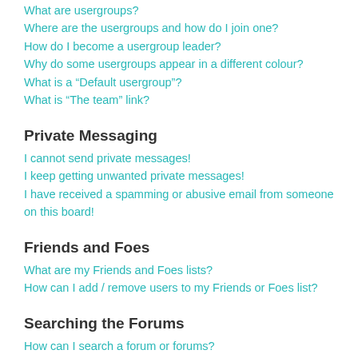What are usergroups?
Where are the usergroups and how do I join one?
How do I become a usergroup leader?
Why do some usergroups appear in a different colour?
What is a “Default usergroup”?
What is “The team” link?
Private Messaging
I cannot send private messages!
I keep getting unwanted private messages!
I have received a spamming or abusive email from someone on this board!
Friends and Foes
What are my Friends and Foes lists?
How can I add / remove users to my Friends or Foes list?
Searching the Forums
How can I search a forum or forums?
Why does my search return no results?
Why does my search return a blank page!?
How do I search for members?
How can I find my own posts and topics?